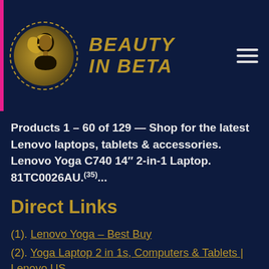[Figure (logo): Beauty In Beta logo: circular dotted border containing a gold silhouette of a woman's profile, next to bold gold italic text 'BEAUTY IN BETA' on dark navy background. Hamburger menu icon in top right.]
Products 1 – 60 of 129 — Shop for the latest Lenovo laptops, tablets & accessories. Lenovo Yoga C740 14" 2-in-1 Laptop. 81TC0026AU.(35)...
Direct Links
(1). Lenovo Yoga – Best Buy
(2). Yoga Laptop 2 in 1s, Computers & Tablets | Lenovo US
(3). Shop Lenovo Yoga Computers, Laptops & More
(4).